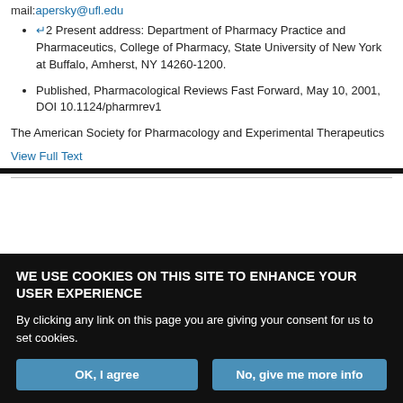mail:apersky@ufl.edu
↵2 Present address: Department of Pharmacy Practice and Pharmaceutics, College of Pharmacy, State University of New York at Buffalo, Amherst, NY 14260-1200.
Published, Pharmacological Reviews Fast Forward, May 10, 2001, DOI 10.1124/pharmrev1
The American Society for Pharmacology and Experimental Therapeutics
View Full Text
WE USE COOKIES ON THIS SITE TO ENHANCE YOUR USER EXPERIENCE
By clicking any link on this page you are giving your consent for us to set cookies.